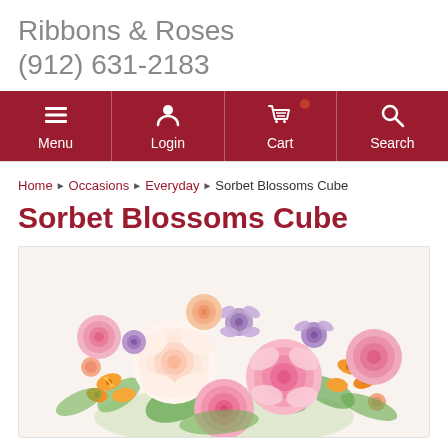Ribbons & Roses
(912) 631-2183
[Figure (screenshot): Website navigation bar with dark red background showing Menu, Login, Cart (with badge), and Search icons in white]
Home ▶ Occasions ▶ Everyday ▶ Sorbet Blossoms Cube
Sorbet Blossoms Cube
[Figure (photo): Photo of the Sorbet Blossoms Cube floral arrangement featuring pink roses, white roses, orange alstroemeria, purple flowers and peach carnations in a cube vase]